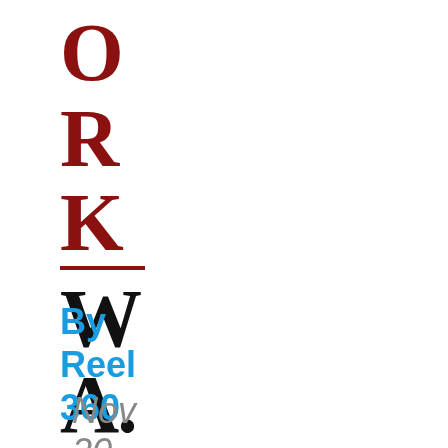ORK_WA.
By Reel 360
Nov 20, 2020